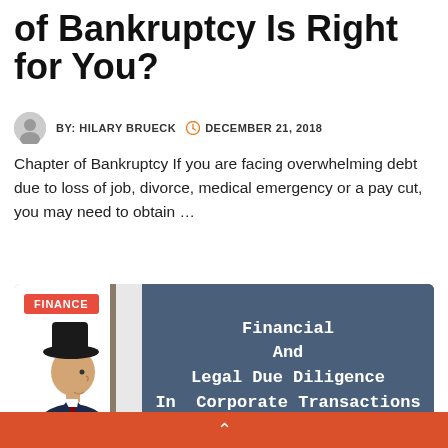of Bankruptcy Is Right for You?
BY: HILARY BRUECK   DECEMBER 21, 2018
Chapter of Bankruptcy If you are facing overwhelming debt due to loss of job, divorce, medical emergency or a pay cut, you may need to obtain ...
[Figure (illustration): Card with 'FINANCE' badge, illustration of a person looking up, and text 'Financial And Legal Due Diligence In Corporate Transactions' on a dark blue background.]